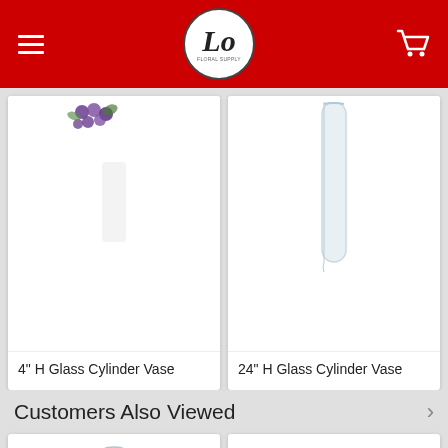LO [logo] navigation header with hamburger menu and cart icon
[Figure (photo): Product card showing glass cylinder vase with purple floral decoration, partially cropped at top]
4" H Glass Cylinder Vase
[Figure (photo): Product card showing 24" tall clear glass cylinder vase, partially cropped at top]
24" H Glass Cylinder Vase
Customers Also Viewed
[Figure (photo): Tall clear glass cylinder vase, tapered style]
[Figure (photo): Tall clear glass cylinder vase]